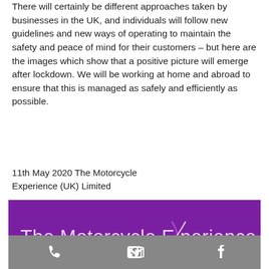There will certainly be different approaches taken by businesses in the UK, and individuals will follow new guidelines and new ways of operating to maintain the safety and peace of mind for their customers – but here are the images which show that a positive picture will emerge after lockdown. We will be working at home and abroad to ensure that this is managed as safely and efficiently as possible.
11th May 2020 The Motorcycle Experience (UK) Limited
[Figure (logo): Purple banner with white text reading 'The Motorcycle Experience' with a stylized X swoosh motif, followed by a grey bar with phone, email, and Facebook icons]